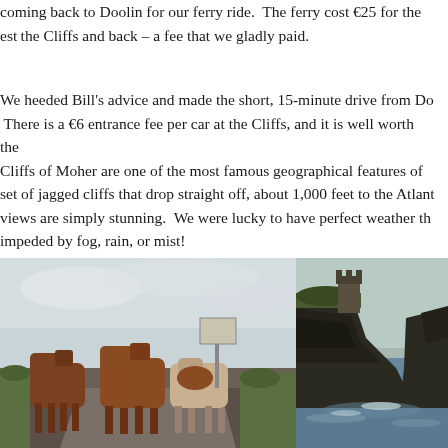coming back to Doolin for our ferry ride.  The ferry cost €25 for the est the Cliffs and back – a fee that we gladly paid.
We heeded Bill's advice and made the short, 15-minute drive from Do  There is a €6 entrance fee per car at the Cliffs, and it is well worth the Cliffs of Moher are one of the most famous geographical features of  set of jagged cliffs that drop straight off, about 1,000 feet to the Atlant views are simply stunning.  We were lucky to have perfect weather th impeded by fog, rain, or mist!
[Figure (photo): Photo of cows standing on a rural road in Ireland, overcast sky in the background with a road sign visible]
[Figure (photo): Photo of the Cliffs of Moher showing dramatic dark rocky cliffs dropping to the Atlantic Ocean below, with vegetation in the foreground]